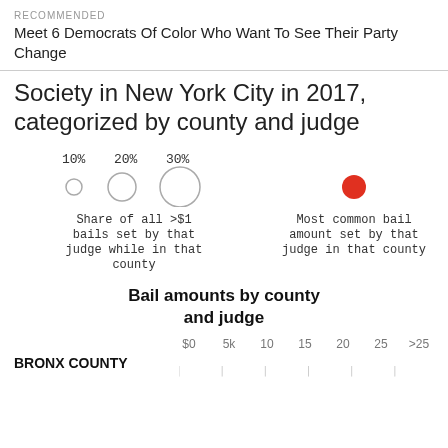RECOMMENDED
Meet 6 Democrats Of Color Who Want To See Their Party Change
Society in New York City in 2017, categorized by county and judge
[Figure (infographic): Legend showing bubble sizes for 10%, 20%, 30% representing share of all >$1 bails set by that judge while in that county, and a red circle for most common bail amount set by that judge in that county]
Bail amounts by county and judge
$0  5k  10  15  20  25  >25
BRONX COUNTY